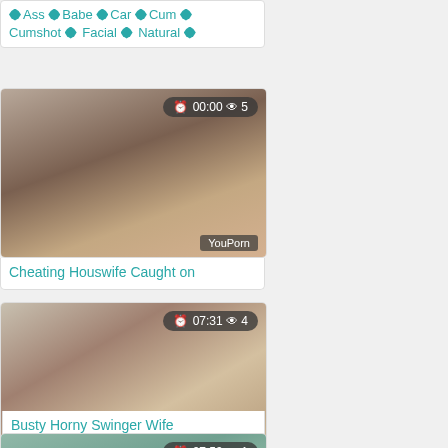Ass  Babe  Car  Cum  Cumshot  Facial  Natural
[Figure (photo): Video thumbnail with overlay showing 00:00 duration and 5 views, YouPorn watermark]
Cheating Houswife Caught on
[Figure (photo): Video thumbnail with overlay showing 07:31 duration and 4 views, PornerBros watermark]
Busty Horny Swinger Wife
[Figure (photo): Video thumbnail with overlay showing 07:59 duration and 1 view]